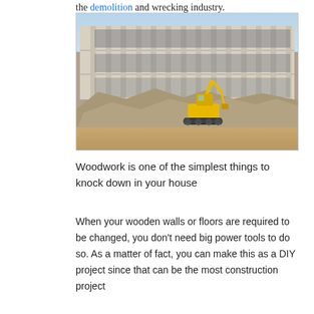the demolition and wrecking industry.
[Figure (photo): A yellow excavator working at a demolition site in front of a partially demolished multi-story building, surrounded by large piles of rubble and debris.]
Woodwork is one of the simplest things to knock down in your house
When your wooden walls or floors are required to be changed, you don't need big power tools to do so. As a matter of fact, you can make this as a DIY project since that can be the most construction project